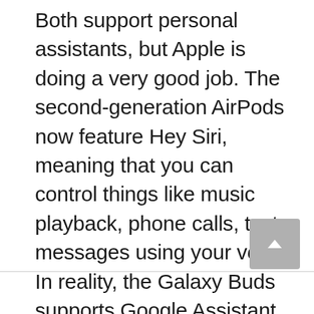Both support personal assistants, but Apple is doing a very good job. The second-generation AirPods now feature Hey Siri, meaning that you can control things like music playback, phone calls, text messages using your voice. In reality, the Galaxy Buds supports Google Assistant or Samsung Bixby, but using the voice is a whole new level.